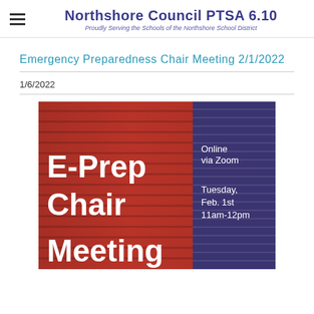Northshore Council PTSA 6.10 — Proudly Serving the Schools of the Northshore School District
Emergency Preparedness Chair Meeting 2/1/2022
1/6/2022
[Figure (infographic): E-Prep Chair Meeting event flyer. Left side shows red brick wall background with large white bold text reading 'E-Prep Chair Meeting'. Right side shows dark purple panel with text: 'Online via Zoom', 'Tuesday, Feb. 1st', '11am-12pm'.]